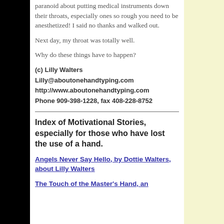paranoid about putting medical instruments down their throats, especially ones so rough you need to be anesthetized! I said no thanks and walked out.
Next day, my throat was totally well.
Why do these things have to happen?
(c) Lilly Walters
Lilly@aboutonehandtyping.com
http://www.aboutonehandtyping.com
Phone 909-398-1228, fax 408-228-8752
Index of Motivational Stories, especially for those who have lost the use of a hand.
Angels Never Say Hello, by Dottie Walters, about Lilly Walters
The Touch of the Master's Hand, an